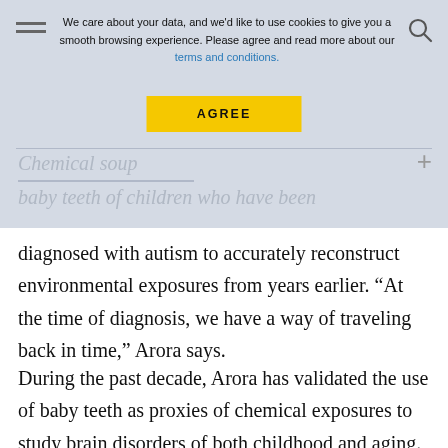We care about your data, and we'd like to use cookies to give you a smooth browsing experience. Please agree and read more about our terms and conditions. AGREE
Chemical soup
baby teeth of children who have been
diagnosed with autism to accurately reconstruct environmental exposures from years earlier. “At the time of diagnosis, we have a way of traveling back in time,” Arora says.
During the past decade, Arora has validated the use of baby teeth as proxies of chemical exposures to study brain disorders of both childhood and aging. He’s working with